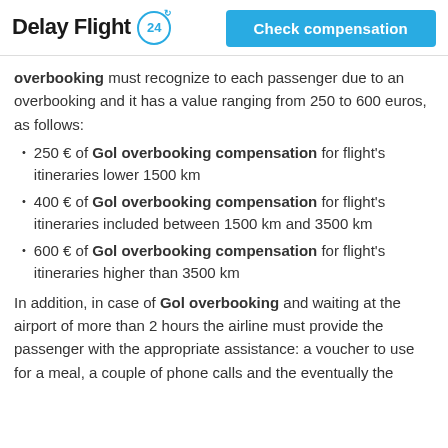Delay Flight 24 | Check compensation
overbooking must recognize to each passenger due to an overbooking and it has a value ranging from 250 to 600 euros, as follows:
250 € of Gol overbooking compensation for flight's itineraries lower 1500 km
400 € of Gol overbooking compensation for flight's itineraries included between 1500 km and 3500 km
600 € of Gol overbooking compensation for flight's itineraries higher than 3500 km
In addition, in case of Gol overbooking and waiting at the airport of more than 2 hours the airline must provide the passenger with the appropriate assistance: a voucher to use for a meal, a couple of phone calls and the eventually the